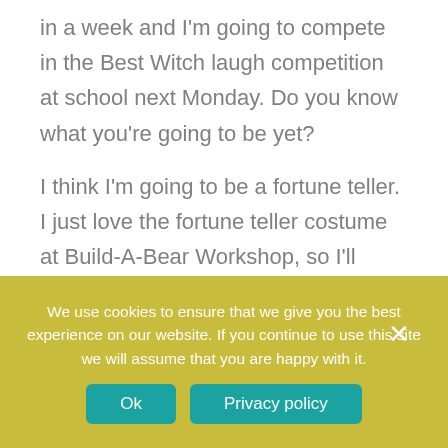in a week and I'm going to compete in the Best Witch laugh competition at school next Monday. Do you know what you're going to be yet?
I think I'm going to be a fortune teller. I just love the fortune teller costume at Build-A-Bear Workshop, so I'll base my costume off of that. I think I'm going to get a little bouncy ball and cover it with foil for my crystal ball. I hope I can make my whole costume; it's more fun that way!
We use cookies to ensure that we give you the best experience on our website. If you continue to use this site we will assume that you are happy with it.